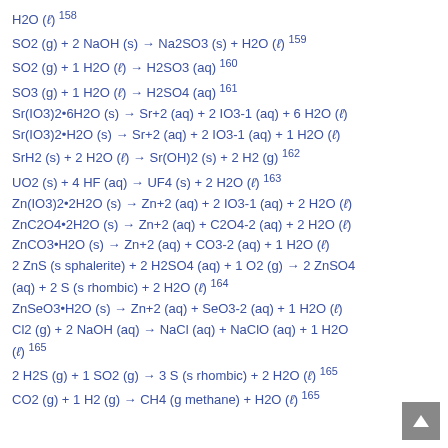H2O (ℓ) 158
SO2 (g) + 2 NaOH (s) → Na2SO3 (s) + H2O (ℓ) 159
SO2 (g) + 1 H2O (ℓ) → H2SO3 (aq) 160
SO3 (g) + 1 H2O (ℓ) → H2SO4 (aq) 161
Sr(IO3)2•6H2O (s) → Sr+2 (aq) + 2 IO3-1 (aq) + 6 H2O (ℓ)
Sr(IO3)2•H2O (s) → Sr+2 (aq) + 2 IO3-1 (aq) + 1 H2O (ℓ)
SrH2 (s) + 2 H2O (ℓ) → Sr(OH)2 (s) + 2 H2 (g) 162
UO2 (s) + 4 HF (aq) → UF4 (s) + 2 H2O (ℓ) 163
Zn(IO3)2•2H2O (s) → Zn+2 (aq) + 2 IO3-1 (aq) + 2 H2O (ℓ)
ZnC2O4•2H2O (s) → Zn+2 (aq) + C2O4-2 (aq) + 2 H2O (ℓ)
ZnCO3•H2O (s) → Zn+2 (aq) + CO3-2 (aq) + 1 H2O (ℓ)
2 ZnS (s sphalerite) + 2 H2SO4 (aq) + 1 O2 (g) → 2 ZnSO4 (aq) + 2 S (s rhombic) + 2 H2O (ℓ) 164
ZnSeO3•H2O (s) → Zn+2 (aq) + SeO3-2 (aq) + 1 H2O (ℓ)
Cl2 (g) + 2 NaOH (aq) → NaCl (aq) + NaClO (aq) + 1 H2O (ℓ) 165
2 H2S (g) + 1 SO2 (g) → 3 S (s rhombic) + 2 H2O (ℓ) 165
CO2 (g) + 1 H2 (g) → CH4 (g methane) + H2O (ℓ) 165